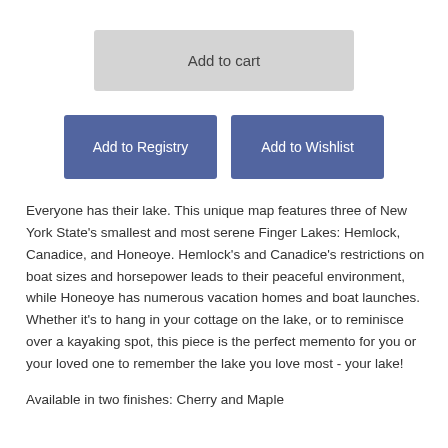Add to cart
Add to Registry
Add to Wishlist
Everyone has their lake. This unique map features three of New York State's smallest and most serene Finger Lakes: Hemlock, Canadice, and Honeoye. Hemlock's and Canadice's restrictions on boat sizes and horsepower leads to their peaceful environment, while Honeoye has numerous vacation homes and boat launches. Whether it's to hang in your cottage on the lake, or to reminisce over a kayaking spot, this piece is the perfect memento for you or your loved one to remember the lake you love most - your lake!
Available in two finishes: Cherry and Maple